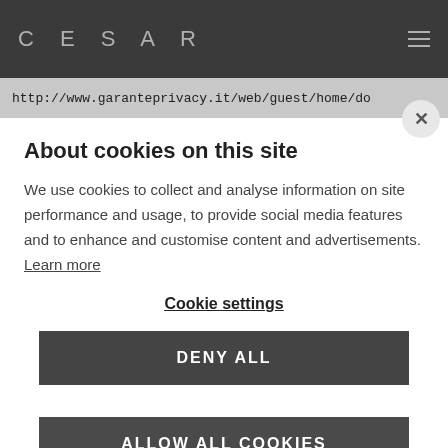CESAR
http://www.garanteprivacy.it/web/guest/home/do
About cookies on this site
We use cookies to collect and analyse information on site performance and usage, to provide social media features and to enhance and customise content and advertisements. Learn more
Cookie settings
DENY ALL
ALLOW ALL COOKIES